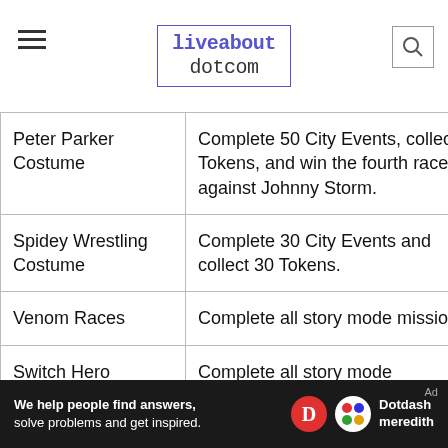liveabout dotcom
| Item | How to Unlock |
| --- | --- |
| Peter Parker Costume | Complete 50 City Events, collect 50 Tokens, and win the fourth race against Johnny Storm. |
| Spidey Wrestling Costume | Complete 30 City Events and collect 30 Tokens. |
| Venom Races | Complete all story mode missions. |
| Switch Hero | Complete all story mode |
We help people find answers, solve problems and get inspired. Dotdash meredith